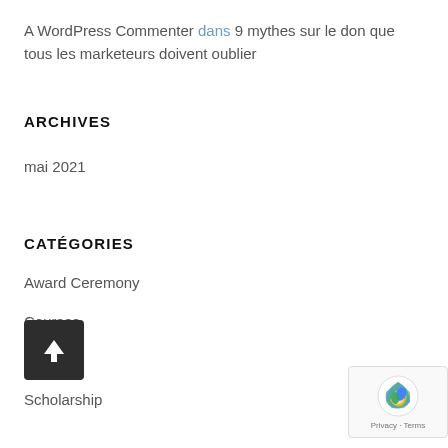A WordPress Commenter dans 9 mythes sur le don que tous les marketeurs doivent oublier
ARCHIVES
mai 2021
CATÉGORIES
Award Ceremony
Courses
Learning
Scholarship